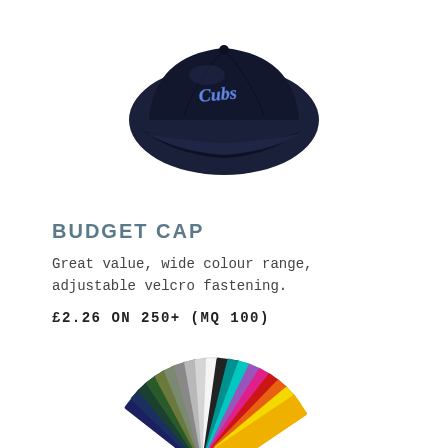[Figure (photo): A navy blue baseball cap with 'Cubs' embroidered script logo in blue and white on the front panel, shown from a front-side angle on a white background.]
BUDGET CAP
Great value, wide colour range, adjustable velcro fastening.
£2.26 ON 250+ (MQ 100)
[Figure (photo): A fan arrangement of fabric swatches displaying a wide range of colours including navy, dark green, grey, silver, white, black, teal, hot pink, red, orange, yellow, and more.]